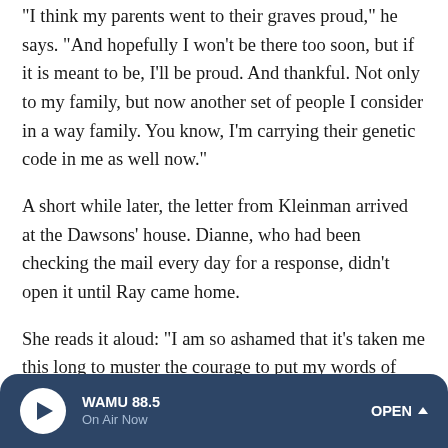"I think my parents went to their graves proud," he says. "And hopefully I won't be there too soon, but if it is meant to be, I'll be proud. And thankful. Not only to my family, but now another set of people I consider in a way family. You know, I'm carrying their genetic code in me as well now."
A short while later, the letter from Kleinman arrived at the Dawsons' house. Dianne, who had been checking the mail every day for a response, didn't open it until Ray came home.
She reads it aloud: "I am so ashamed that it's taken me this long to muster the courage to put my words of thanks onto paper. You have not only allowed me to live, [but also] attend the marriage of my youngest son."
WAMU 88.5 On Air Now OPEN